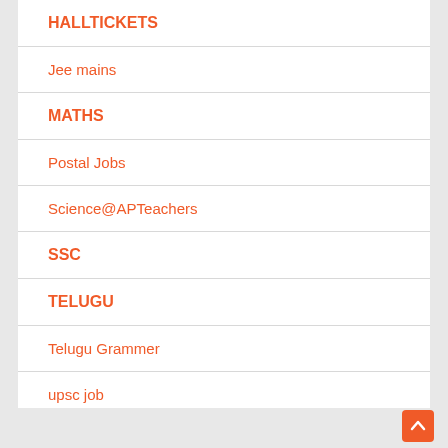HALLTICKETS
Jee mains
MATHS
Postal Jobs
Science@APTeachers
SSC
TELUGU
Telugu Grammer
upsc job